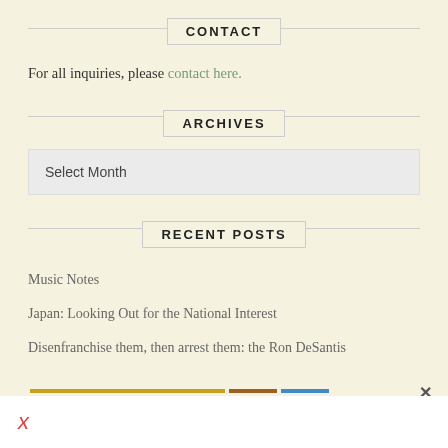CONTACT
For all inquiries, please contact here.
ARCHIVES
Select Month
RECENT POSTS
Music Notes
Japan: Looking Out for the National Interest
Disenfranchise them, then arrest them: the Ron DeSantis